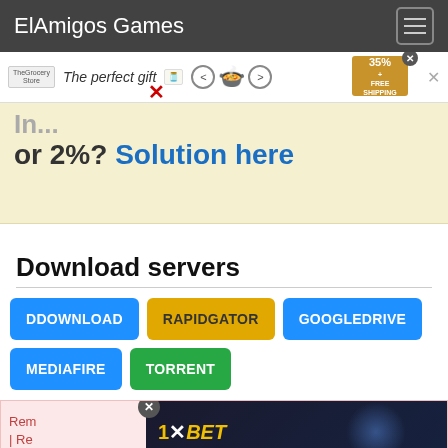ElAmigos Games
[Figure (screenshot): Advertisement banner showing 'The perfect gift' with a food bowl image and navigation arrows, and a gold badge showing '35% + FREE SHIPPING']
or 2%? Solution here
Download servers
DDOWNLOAD
RAPIDGATOR
GOOGLEDRIVE
MEDIAFIRE
TORRENT
[Figure (screenshot): 1XBET advertisement overlay with 'RECEBA O BÔNUS' button and number 1915]